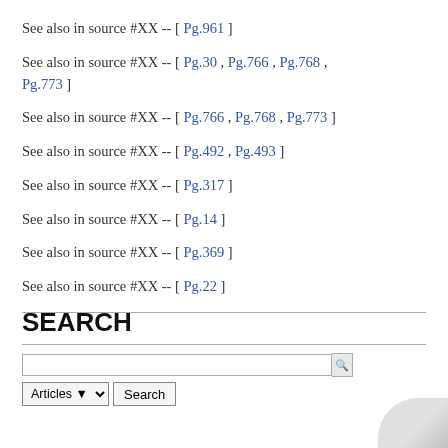See also in source #XX -- [ Pg.961 ]
See also in source #XX -- [ Pg.30 , Pg.766 , Pg.768 , Pg.773 ]
See also in source #XX -- [ Pg.766 , Pg.768 , Pg.773 ]
See also in source #XX -- [ Pg.492 , Pg.493 ]
See also in source #XX -- [ Pg.317 ]
See also in source #XX -- [ Pg.14 ]
See also in source #XX -- [ Pg.369 ]
See also in source #XX -- [ Pg.22 ]
SEARCH